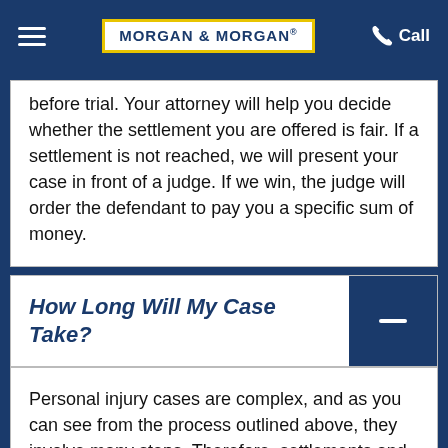MORGAN & MORGAN — Call
before trial. Your attorney will help you decide whether the settlement you are offered is fair. If a settlement is not reached, we will present your case in front of a judge. If we win, the judge will order the defendant to pay you a specific sum of money.
How Long Will My Case Take?
Personal injury cases are complex, and as you can see from the process outlined above, they involve many steps. Therefore, settlements and trials can take months, perhaps even years to